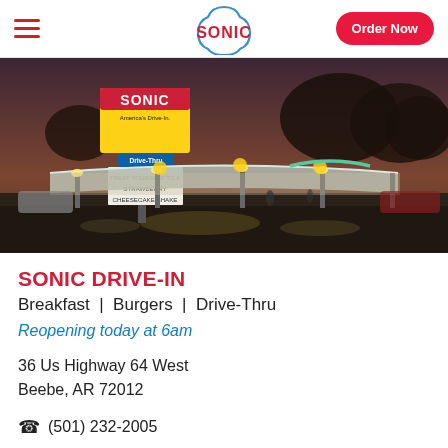SONIC | Order Now
[Figure (photo): Sonic Drive-In restaurant exterior at dusk/night with illuminated signage reading 'SONIC America's Drive-In' and a Drive-Thru sign saying 'TREAT YOURSELF TO A STRAWBERRY CHEESECAKE SHAKE'. Covered drive-in stalls visible, wet pavement reflecting lights.]
SONIC DRIVE-IN
Breakfast  |  Burgers  |  Drive-Thru
Reopening today at 6am
36 Us Highway 64 West
Beebe, AR 72012
(501) 232-2005